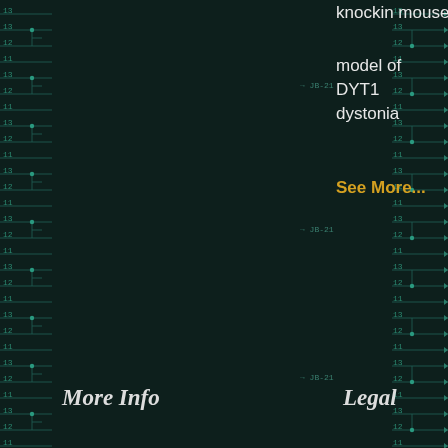[Figure (circuit-diagram): Background circuit diagram overlay showing 74HCT138 logic chip schematics with Y1, Y2, Y3 outputs and numbered inputs, rendered in dark teal on dark background]
knockin mouse
model of DYT1 dystonia
See More...
More Info
Legal
> AutoMate Scientific Catalog
> Contact
> Company
> Partners
> Customer Service
> Copyrights
> Credits
> Privacy
> Terms
Translations